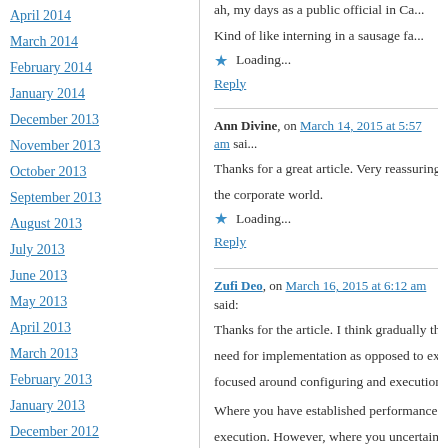April 2014
March 2014
February 2014
January 2014
December 2013
November 2013
October 2013
September 2013
August 2013
July 2013
June 2013
May 2013
April 2013
March 2013
February 2013
January 2013
December 2012
ah, my days as a public official in Ca... Kind of like interning in a sausage fa...
Loading...
Reply
Ann Divine, on March 14, 2015 at 5:57 am said:
Thanks for a great article. Very reassuring a... the corporate world.
Loading...
Reply
Zufi Deo, on March 16, 2015 at 6:12 am said:
Thanks for the article. I think gradually the d... need for implementation as opposed to exe... focused around configuring and execution i...
Where you have established performance e... execution. However, where you uncertainty... environment. The focus will then be more o... goes into more depth pls see my linked in p...
I strongly feel this change in emphasis will a... tools to use their holistic faculties as profe...